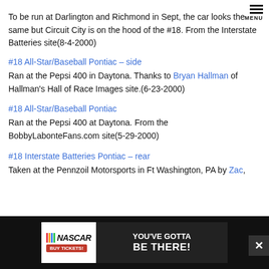MENU
To be run at Darlington and Richmond in Sept, the car looks the same but Circuit City is on the hood of the #18. From the Interstate Batteries site(8-4-2000)
#18 All-Star/Baseball Pontiac – side
Ran at the Pepsi 400 in Daytona. Thanks to Bryan Hallman of Hallman's Hall of Race Images site.(6-23-2000)
#18 All-Star/Baseball Pontiac
Ran at the Pepsi 400 at Daytona. From the BobbyLabonteFans.com site(5-29-2000)
#18 Interstate Batteries Pontiac – rear
Taken at the Pennzoil Motorsports in Ft Washington, PA by Zac,
[Figure (infographic): NASCAR advertisement banner: NASCAR logo with colored stripes and BUY TICKETS button on left; dark background on right with text YOU'VE GOTTA BE THERE!]